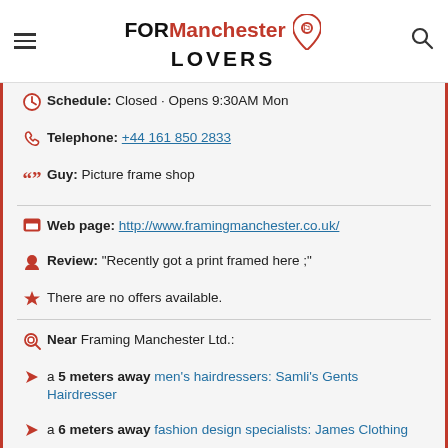FORManchester LOVERS
Schedule: Closed · Opens 9:30AM Mon
Telephone: +44 161 850 2833
Guy: Picture frame shop
Web page: http://www.framingmanchester.co.uk/
Review: "Recently got a print framed here ;"
There are no offers available.
Near Framing Manchester Ltd.:
a 5 meters away men's hairdressers: Samli's Gents Hairdresser
a 6 meters away fashion design specialists: James Clothing
a 8 meters away cheap plants: Blossom Flowers